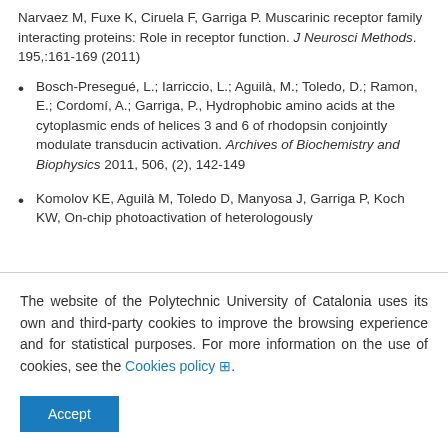Narvaez M, Fuxe K, Ciruela F, Garriga P. Muscarinic receptor family interacting proteins: Role in receptor function. J Neurosci Methods. 195,:161-169 (2011)
Bosch-Presegué, L.; Iarriccio, L.; Aguilà, M.; Toledo, D.; Ramon, E.; Cordomí, A.; Garriga, P., Hydrophobic amino acids at the cytoplasmic ends of helices 3 and 6 of rhodopsin conjointly modulate transducin activation. Archives of Biochemistry and Biophysics 2011, 506, (2), 142-149
Komolov KE, Aguilà M, Toledo D, Manyosa J, Garriga P, Koch KW, On-chip photoactivation of heterologously
The website of the Polytechnic University of Catalonia uses its own and third-party cookies to improve the browsing experience and for statistical purposes. For more information on the use of cookies, see the Cookies policy .